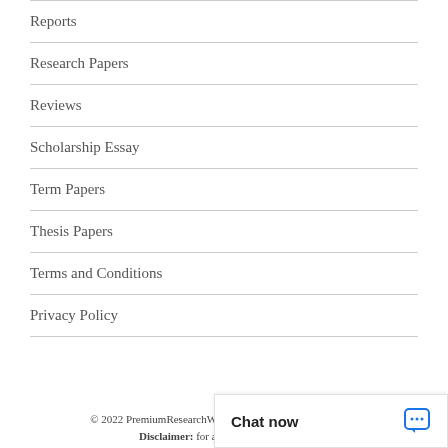Reports
Research Papers
Reviews
Scholarship Essay
Term Papers
Thesis Papers
Terms and Conditions
Privacy Policy
© 2022 PremiumResearchWriters.com. All Rights Reserved. Disclaimer: for assistance p… used…